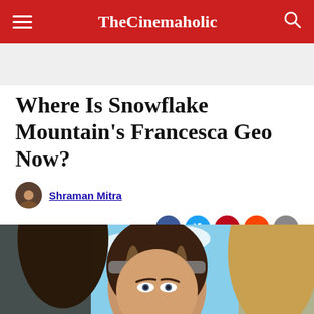TheCinemaholic
Where Is Snowflake Mountain's Francesca Geo Now?
Shraman Mitra
June 22, 2022
[Figure (photo): Close-up photo of a young woman with long dark brown hair with highlights, wearing a patterned headband, with blue sky and clouds in the background]